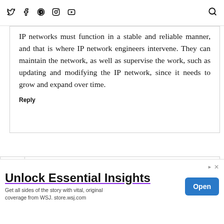social icons: Twitter, Facebook, Pinterest, Instagram, YouTube | Search
IP networks must function in a stable and reliable manner, and that is where IP network engineers intervene. They can maintain the network, as well as supervise the work, such as updating and modifying the IP network, since it needs to grow and expand over time.
Reply
KARL N. WILSON  21 MARCH 2020 AT 18:14
Unlock Essential Insights
Get all sides of the story with vital, original coverage from WSJ. store.wsj.com